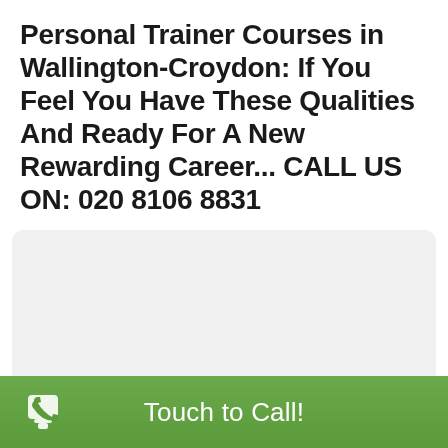Personal Trainer Courses in Wallington-Croydon: If You Feel You Have These Qualities And Ready For A New Rewarding Career... CALL US ON: 020 8106 8831
[Figure (other): Light gray rounded rectangle placeholder area for an image]
Touch to Call!